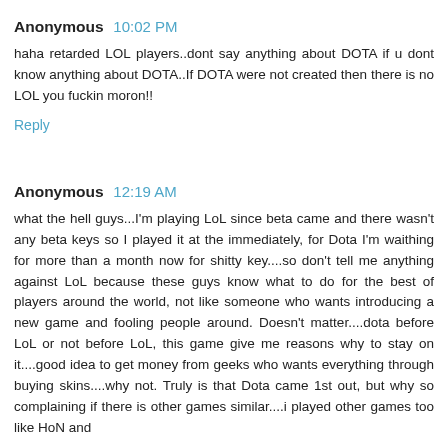Anonymous 10:02 PM
haha retarded LOL players..dont say anything about DOTA if u dont know anything about DOTA..If DOTA were not created then there is no LOL you fuckin moron!!
Reply
Anonymous 12:19 AM
what the hell guys...I'm playing LoL since beta came and there wasn't any beta keys so I played it at the immediately, for Dota I'm waithing for more than a month now for shitty key....so don't tell me anything against LoL because these guys know what to do for the best of players around the world, not like someone who wants introducing a new game and fooling people around. Doesn't matter....dota before LoL or not before LoL, this game give me reasons why to stay on it....good idea to get money from geeks who wants everything through buying skins....why not. Truly is that Dota came 1st out, but why so complaining if there is other games similar....i played other games too like HoN and